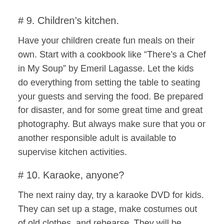# 9. Children's kitchen.
Have your children create fun meals on their own. Start with a cookbook like “There’s a Chef in My Soup” by Emeril Lagasse. Let the kids do everything from setting the table to seating your guests and serving the food. Be prepared for disaster, and for some great time and great photography. But always make sure that you or another responsible adult is available to supervise kitchen activities.
# 10. Karaoke, anyone?
The next rainy day, try a karaoke DVD for kids. They can set up a stage, make costumes out of old clothes, and rehearse. They will be ready to give a concert in the late afternoon or evening.